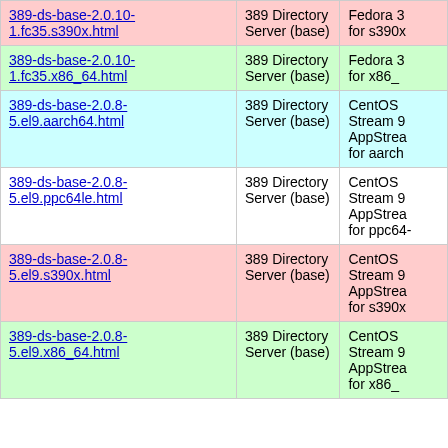| Package | Component | Repository |
| --- | --- | --- |
| 389-ds-base-2.0.10-1.fc35.s390x.html | 389 Directory Server (base) | Fedora 35 for s390x |
| 389-ds-base-2.0.10-1.fc35.x86_64.html | 389 Directory Server (base) | Fedora 35 for x86_64 |
| 389-ds-base-2.0.8-5.el9.aarch64.html | 389 Directory Server (base) | CentOS Stream 9 AppStream for aarch64 |
| 389-ds-base-2.0.8-5.el9.ppc64le.html | 389 Directory Server (base) | CentOS Stream 9 AppStream for ppc64le |
| 389-ds-base-2.0.8-5.el9.s390x.html | 389 Directory Server (base) | CentOS Stream 9 AppStream for s390x |
| 389-ds-base-2.0.8-5.el9.x86_64.html | 389 Directory Server (base) | CentOS Stream 9 AppStream for x86_64 |